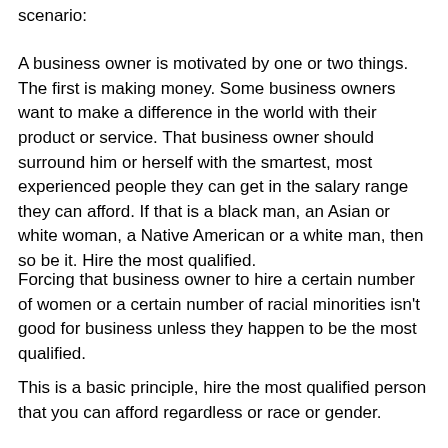scenario:
A business owner is motivated by one or two things. The first is making money. Some business owners want to make a difference in the world with their product or service. That business owner should surround him or herself with the smartest, most experienced people they can get in the salary range they can afford. If that is a black man, an Asian or white woman, a Native American or a white man, then so be it. Hire the most qualified.
Forcing that business owner to hire a certain number of women or a certain number of racial minorities isn't good for business unless they happen to be the most qualified.
This is a basic principle, hire the most qualified person that you can afford regardless or race or gender.